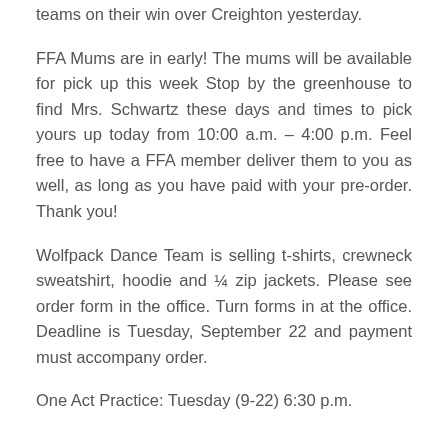teams on their win over Creighton yesterday.
FFA Mums are in early! The mums will be available for pick up this week Stop by the greenhouse to find Mrs. Schwartz these days and times to pick yours up today from 10:00 a.m. – 4:00 p.m. Feel free to have a FFA member deliver them to you as well, as long as you have paid with your pre-order. Thank you!
Wolfpack Dance Team is selling t-shirts, crewneck sweatshirt, hoodie and ¼ zip jackets. Please see order form in the office. Turn forms in at the office. Deadline is Tuesday, September 22 and payment must accompany order.
One Act Practice: Tuesday (9-22) 6:30 p.m.